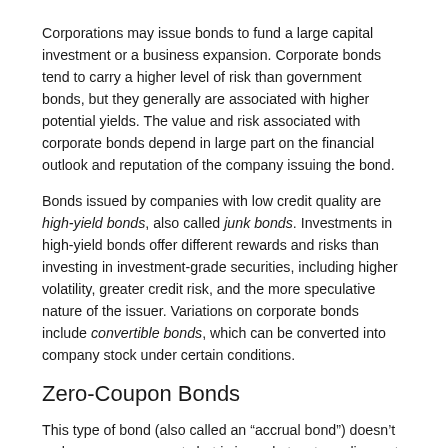Corporations may issue bonds to fund a large capital investment or a business expansion. Corporate bonds tend to carry a higher level of risk than government bonds, but they generally are associated with higher potential yields. The value and risk associated with corporate bonds depend in large part on the financial outlook and reputation of the company issuing the bond.
Bonds issued by companies with low credit quality are high-yield bonds, also called junk bonds. Investments in high-yield bonds offer different rewards and risks than investing in investment-grade securities, including higher volatility, greater credit risk, and the more speculative nature of the issuer. Variations on corporate bonds include convertible bonds, which can be converted into company stock under certain conditions.
Zero-Coupon Bonds
This type of bond (also called an “accrual bond”) doesn’t make coupon payments but is issued at a steep discount. The bond is redeemed for its full value upon maturity. Zero-coupon bonds tend to fluctuate in price more than coupon bonds. They can be issued by the U.S. Treasury, corporations, and state and local government entities and generally have long maturity dates.
* * *